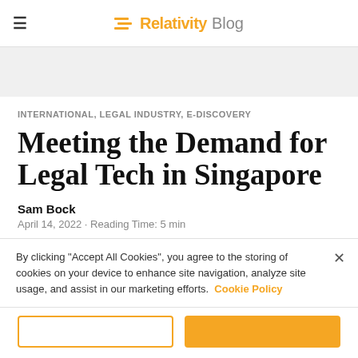≡ Relativity Blog
INTERNATIONAL, LEGAL INDUSTRY, E-DISCOVERY
Meeting the Demand for Legal Tech in Singapore
Sam Bock
April 14, 2022 · Reading Time: 5 min
By clicking "Accept All Cookies", you agree to the storing of cookies on your device to enhance site navigation, analyze site usage, and assist in our marketing efforts. Cookie Policy